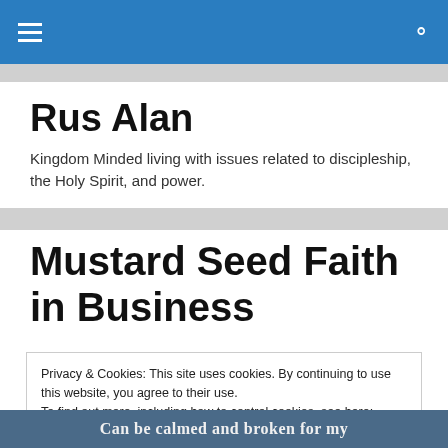≡  🔍
Rus Alan
Kingdom Minded living with issues related to discipleship, the Holy Spirit, and power.
Mustard Seed Faith in Business
Privacy & Cookies: This site uses cookies. By continuing to use this website, you agree to their use.
To find out more, including how to control cookies, see here: Cookie Policy
Close and accept
[Figure (photo): Partial image at bottom with text overlay: Can be calmed and broken for my]